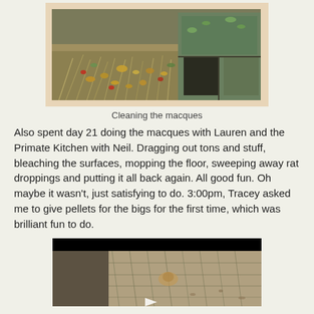[Figure (photo): Outdoor photo showing macaque feeding station area with food items scattered on ground and wooden structure]
Cleaning the macques
Also spent day 21 doing the macques with Lauren and the Primate Kitchen with Neil. Dragging out tons and stuff, bleaching the surfaces, mopping the floor, sweeping away rat droppings and putting it all back again. All good fun. Oh maybe it wasn't, just satisfying to do. 3:00pm, Tracey asked me to give pellets for the bigs for the first time, which was brilliant fun to do.
[Figure (photo): Outdoor photo showing ground area with wire mesh/fence visible, partial view with black bar at top and play button overlay]